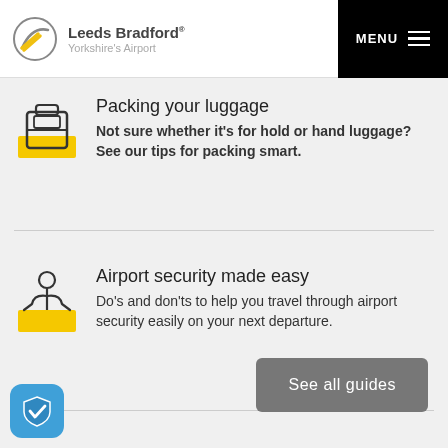Leeds Bradford® Yorkshire's Airport | MENU
Packing your luggage — Not sure whether it's for hold or hand luggage? See our tips for packing smart.
Airport security made easy — Do's and don'ts to help you travel through airport security easily on your next departure.
See all guides